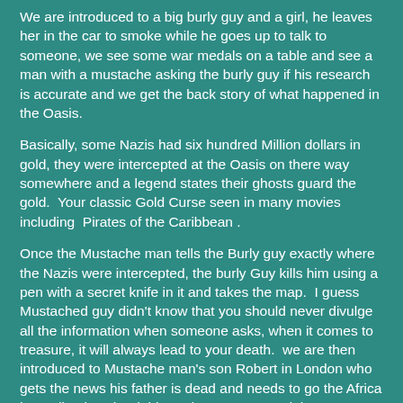We are introduced to a big burly guy and a girl, he leaves her in the car to smoke while he goes up to talk to someone, we see some war medals on a table and see a man with a mustache asking the burly guy if his research is accurate and we get the back story of what happened in the Oasis.
Basically, some Nazis had six hundred Million dollars in gold, they were intercepted at the Oasis on there way somewhere and a legend states their ghosts guard the gold.  Your classic Gold Curse seen in many movies including  Pirates of the Caribbean .
Once the Mustache man tells the Burly guy exactly where the Nazis were intercepted, the burly Guy kills him using a pen with a secret knife in it and takes the map.  I guess Mustached guy didn't know that you should never divulge all the information when someone asks, when it comes to treasure, it will always lead to your death.  we are then introduced to Mustache man's son Robert in London who gets the news his father is dead and needs to go the Africa immediately.  The dubbers don't even sound that interested in what they are saying.